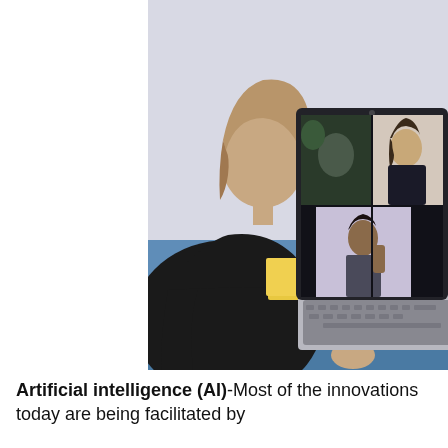[Figure (photo): A woman viewed from behind sitting at a blue desk, looking at a laptop screen showing a video conference with three participants in a grid layout. She is wearing a black top and holding a pen/stylus. Yellow notebooks are visible to the left.]
Artificial intelligence (AI)-Most of the innovations today are being facilitated by